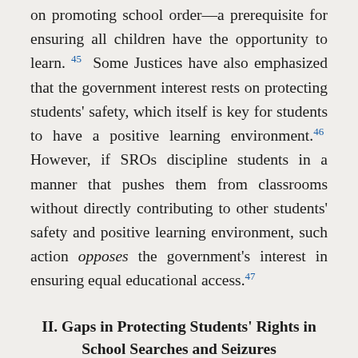on promoting school order—a prerequisite for ensuring all children have the opportunity to learn. 45 Some Justices have also emphasized that the government interest rests on protecting students' safety, which itself is key for students to have a positive learning environment. 46 However, if SROs discipline students in a manner that pushes them from classrooms without directly contributing to other students' safety and positive learning environment, such action opposes the government's interest in ensuring equal educational access. 47
II. Gaps in Protecting Students' Rights in School Searches and Seizures